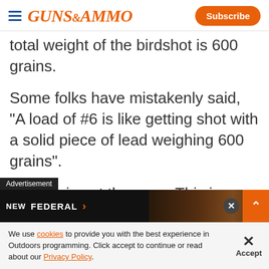GUNS & AMMO | Subscribe
total weight of the birdshot is 600 grains.
Some folks have mistakenly said, "A load of #6 is like getting shot with a solid piece of lead weighing 600 grains".
But this is not the case. This is because that 600 grain load is com...
We use cookies to provide you with the best experience in Outdoors programming. Click accept to continue or read about our Privacy Policy.